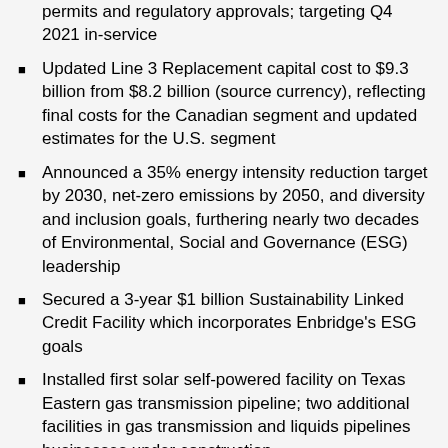Replacement Project in Minnesota following receipt of all permits and regulatory approvals; targeting Q4 2021 in-service
Updated Line 3 Replacement capital cost to $9.3 billion from $8.2 billion (source currency), reflecting final costs for the Canadian segment and updated estimates for the U.S. segment
Announced a 35% energy intensity reduction target by 2030, net-zero emissions by 2050, and diversity and inclusion goals, furthering nearly two decades of Environmental, Social and Governance (ESG) leadership
Secured a 3-year $1 billion Sustainability Linked Credit Facility which incorporates Enbridge's ESG goals
Installed first solar self-powered facility on Texas Eastern gas transmission pipeline; two additional facilities in gas transmission and liquids pipelines businesses under construction